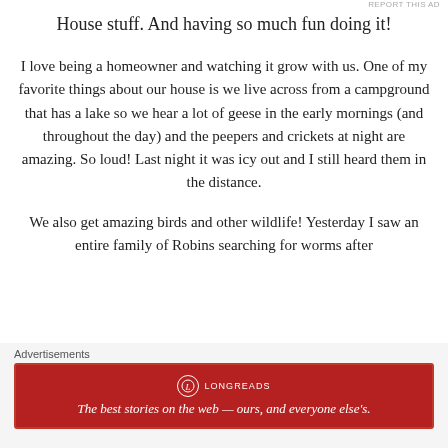REPORT THIS AD
House stuff. And having so much fun doing it!
I love being a homeowner and watching it grow with us. One of my favorite things about our house is we live across from a campground that has a lake so we hear a lot of geese in the early mornings (and throughout the day) and the peepers and crickets at night are amazing. So loud! Last night it was icy out and I still heard them in the distance.
We also get amazing birds and other wildlife! Yesterday I saw an entire family of Robins searching for worms after
Advertisements
[Figure (other): Longreads advertisement banner: red background with Longreads logo and tagline 'The best stories on the web — ours, and everyone else's.']